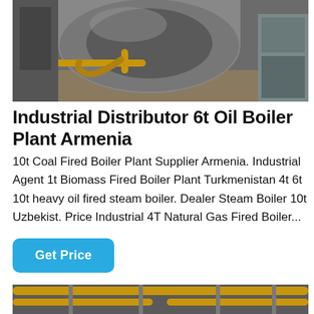[Figure (photo): Industrial boiler plant interior showing large cylindrical boiler tank with yellow/gold pipes and hoses, industrial equipment in a warehouse setting]
Industrial Distributor 6t Oil Boiler Plant Armenia
10t Coal Fired Boiler Plant Supplier Armenia. Industrial Agent 1t Biomass Fired Boiler Plant Turkmenistan 4t 6t 10t heavy oil fired steam boiler. Dealer Steam Boiler 10t Uzbekist. Price Industrial 4T Natural Gas Fired Boiler...
Get Price
[Figure (photo): Industrial boiler or heating plant interior with yellow pipes running along ceiling and walls, industrial structural elements visible]